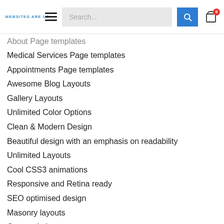WEBSITES ARE US — Search bar — Cart (0)
About Page templates
Medical Services Page templates
Appointments Page templates
Awesome Blog Layouts
Gallery Layouts
Unlimited Color Options
Clean & Modern Design
Beautiful design with an emphasis on readability
Unlimited Layouts
Cool CSS3 animations
Responsive and Retina ready
SEO optimised design
Masonry layouts
Carousel elements
Customizable Header Layout
Multiple header options
Multiple footer options